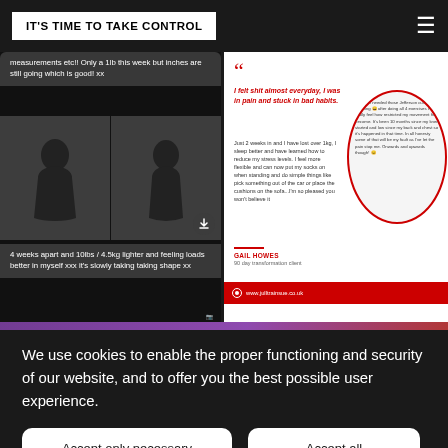IT'S TIME TO TAKE CONTROL
[Figure (screenshot): Mobile screenshot showing before/after body photo comparison with text messages: 'measurements etc!! Only a 1lb this week but inches are still going which is good! xx' and '4 weeks apart and 10lbs / 4.5kg lighter and feeling loads better in myself xxx it's slowly taking taking shape xx']
[Figure (screenshot): Testimonial screenshot with quote: 'I felt shit almost everyday, I was in pain and stuck in bad habits.' followed by body text about 2 weeks progress, attributed to GAIL HOWES, 90 day transformation client, with a circled screenshot and red banner showing www.julltrainsue.co.uk]
We use cookies to enable the proper functioning and security of our website, and to offer you the best possible user experience.
Accept only necessary
Accept all